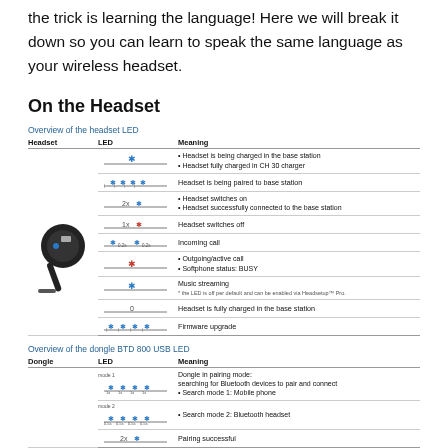the trick is learning the language! Here we will break it down so you can learn to speak the same language as your wireless headset.
On the Headset
Overview of the headset LED
| Headset | LED | Meaning |
| --- | --- | --- |
|  | [blue star solid] | • Headset is being charged in the base station
• Headset fully charged in CH 30 charger |
|  | [blue star x4 rapid] | Headset is being paired to base station |
|  | [2x blue star] | • Headset switches on
• Headset successfully connected to the base station |
|  | [1x red star] | Headset switches off |
|  | [blue star 0.2s blue star 0.2s] | Incoming call |
|  | [red star solid] | • Outgoing/active call
• Softphone status: BUSY |
|  | [blue star solid] | Music streaming
*the LED is off per default and can be enabled via Headsetup™ Pro. |
|  | 0 | Headset is fully charged in the base station |
|  | [blue star x4] | Firmware upgrade |
Overview of the dongle BTD 800 USB LED
| Dongle | LED | Meaning |
| --- | --- | --- |
|  | mode 1: [blue star x4 with timing 1s 1s 1s 1s] | Dongle in pairing mode: searching for Bluetooth devices to pair and connect
• Search mode 1: Mobile phone |
|  | mode 2: [blue star x4 with timing 0.5s 0.5s 0.5s 0.5s] | • Search mode 2: Bluetooth headset |
|  | [2x blue star] | Pairing successful |